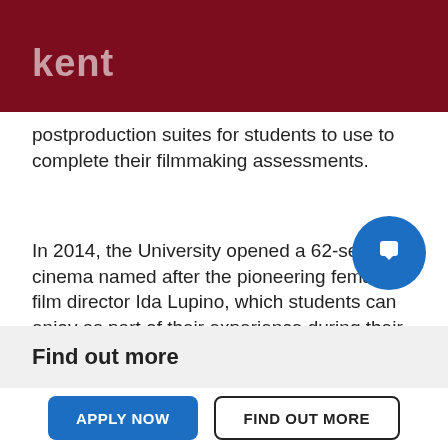kent
postproduction suites for students to use to complete their filmmaking assessments.
In 2014, the University opened a 62-seat cinema named after the pioneering female film director Ida Lupino, which students can enjoy as part of their experience during their studies. The Lupino has state-of-the-art digital projection and sound, and has been created to provide an intimate atmosphere for film viewing.
[Figure (other): Blue circular chat/message button icon in the bottom right area of the page]
Find out more
APPLY NOW
FIND OUT MORE